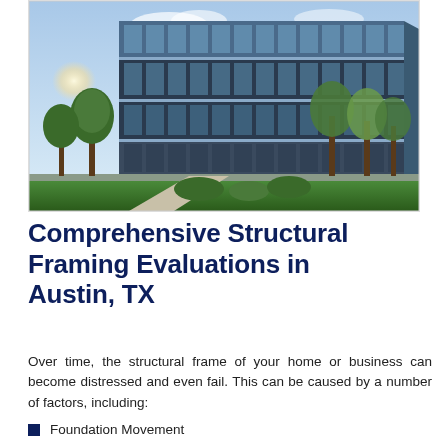[Figure (photo): Modern multi-story glass and steel commercial office building with trees and walkway in foreground, sunny sky]
Comprehensive Structural Framing Evaluations in Austin, TX
Over time, the structural frame of your home or business can become distressed and even fail. This can be caused by a number of factors, including:
Foundation Movement